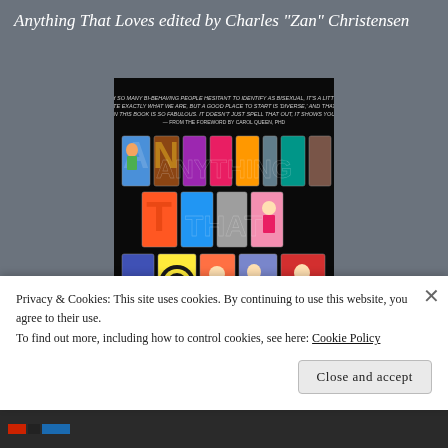Anything That Loves edited by Charles "Zan" Christensen
[Figure (photo): Book cover for 'Anything That Loves' — black background with large illustrated comic-style lettering spelling out 'ANYTHING THAT LOVES', filled with colorful cartoon characters. A quote from the foreword by Carol Queen, PhD appears at the top.]
Privacy & Cookies: This site uses cookies. By continuing to use this website, you agree to their use.
To find out more, including how to control cookies, see here: Cookie Policy